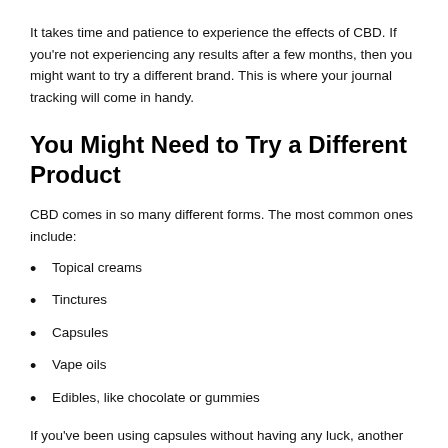It takes time and patience to experience the effects of CBD. If you're not experiencing any results after a few months, then you might want to try a different brand. This is where your journal tracking will come in handy.
You Might Need to Try a Different Product
CBD comes in so many different forms. The most common ones include:
Topical creams
Tinctures
Capsules
Vape oils
Edibles, like chocolate or gummies
If you've been using capsules without having any luck, another form might work better for you. You'll want to consider how much CBD gets